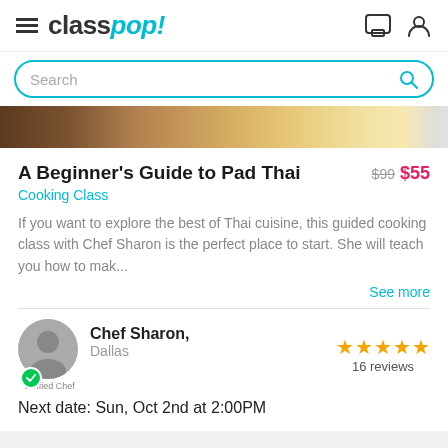classpop!
Search
[Figure (photo): Food image showing Thai cuisine - noodles and vegetables]
A Beginner's Guide to Pad Thai  $99  $55
Cooking Class
If you want to explore the best of Thai cuisine, this guided cooking class with Chef Sharon is the perfect place to start. She will teach you how to mak...
See more
[Figure (photo): Chef Sharon profile photo - black and white headshot with verified chef badge]
Chef Sharon, Dallas  16 reviews
Next date: Sun, Oct 2nd at 2:00PM